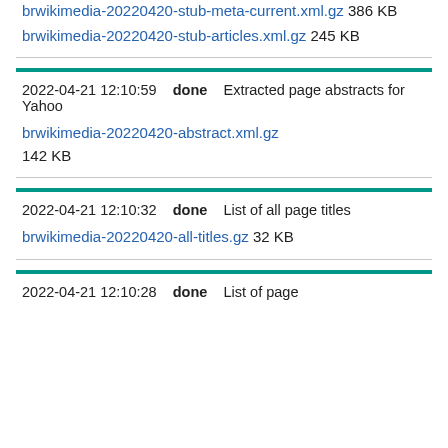brwikimedia-20220420-stub-meta-current.xml.gz 386 KB
brwikimedia-20220420-stub-articles.xml.gz 245 KB
2022-04-21 12:10:59    done    Extracted page abstracts for Yahoo
brwikimedia-20220420-abstract.xml.gz 142 KB
2022-04-21 12:10:32    done    List of all page titles
brwikimedia-20220420-all-titles.gz 32 KB
2022-04-21 12:10:28    done    List of page